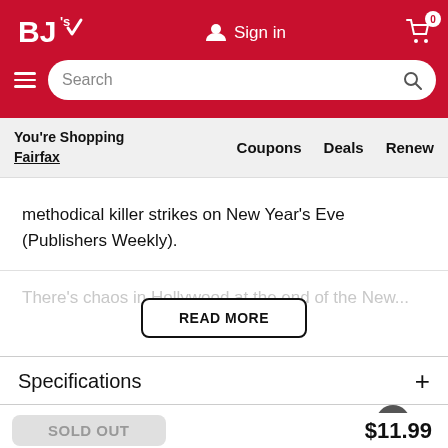[Figure (logo): BJ's Wholesale Club logo in white on red background]
Sign in | Cart 0 | Search bar | Hamburger menu
You're Shopping Fairfax | Coupons | Deals | Renew
methodical killer strikes on New Year's Eve (Publishers Weekly).
There's chaos in Hollywood at the end of the New...
READ MORE
Specifications +
Shipping & Returns +
SOLD OUT
$11.99